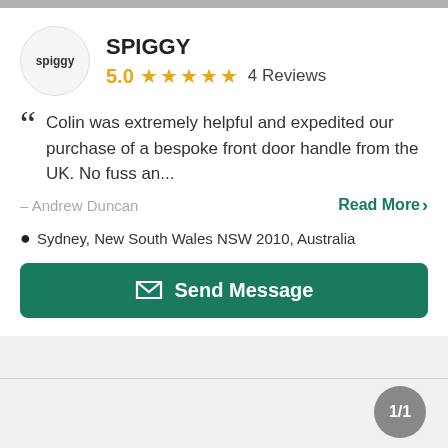[Figure (logo): Spiggy logo in a circle — text reads 'spiggy']
SPIGGY
5.0 ★★★★★ 4 Reviews
Colin was extremely helpful and expedited our purchase of a bespoke front door handle from the UK. No fuss an...
– Andrew Duncan
Read More >
Sydney, New South Wales NSW 2010, Australia
Send Message
1/1